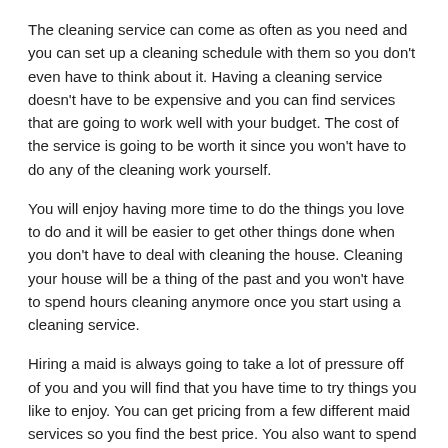The cleaning service can come as often as you need and you can set up a cleaning schedule with them so you don't even have to think about it. Having a cleaning service doesn't have to be expensive and you can find services that are going to work well with your budget. The cost of the service is going to be worth it since you won't have to do any of the cleaning work yourself.
You will enjoy having more time to do the things you love to do and it will be easier to get other things done when you don't have to deal with cleaning the house. Cleaning your house will be a thing of the past and you won't have to spend hours cleaning anymore once you start using a cleaning service.
Hiring a maid is always going to take a lot of pressure off of you and you will find that you have time to try things you like to enjoy. You can get pricing from a few different maid services so you find the best price. You also want to spend some time reading reviews so you know which services are going to be the best. If you are tired of spending hours a week cleaning your house then a maid service can be the best choice. Our maid services in Richardson tx can't be beaten.